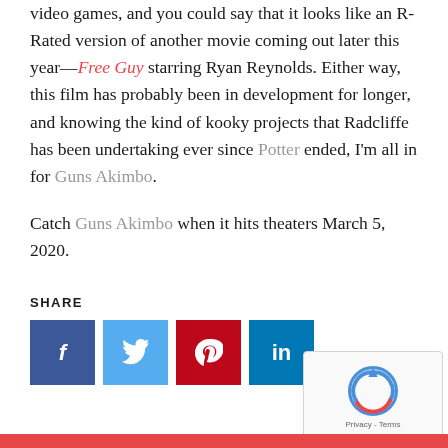video games, and you could say that it looks like an R-Rated version of another movie coming out later this year—Free Guy starring Ryan Reynolds. Either way, this film has probably been in development for longer, and knowing the kind of kooky projects that Radcliffe has been undertaking ever since Potter ended, I'm all in for Guns Akimbo.
Catch Guns Akimbo when it hits theaters March 5, 2020.
SHARE
[Figure (other): Social share buttons for Facebook, Twitter, Pinterest, and LinkedIn]
[Figure (other): reCAPTCHA widget with Privacy - Terms text]